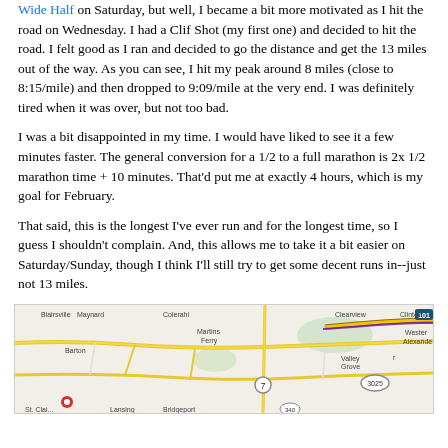Wide Half on Saturday, but well, I became a bit more motivated as I hit the road on Wednesday. I had a Clif Shot (my first one) and decided to hit the road. I felt good as I ran and decided to go the distance and get the 13 miles out of the way. As you can see, I hit my peak around 8 miles (close to 8:15/mile) and then dropped to 9:09/mile at the very end. I was definitely tired when it was over, but not too bad.
I was a bit disappointed in my time. I would have liked to see it a few minutes faster. The general conversion for a 1/2 to a full marathon is 2x 1/2 marathon time + 10 minutes. That'd put me at exactly 4 hours, which is my goal for February.
That said, this is the longest I've ever run and for the longest time, so I guess I shouldn't complain. And, this allows me to take it a bit easier on Saturday/Sunday, though I think I'll still try to get some decent runs in--just not 13 miles.
[Figure (map): Google Maps screenshot showing a road map of the western Pennsylvania / West Virginia area including locations such as Clearview, Clinton, Blairsville, Maynard, Barton, Martins Ferry, Valley Grove, St. Clairsville, Lansing, and Bridgeport. A running route is highlighted along a road in the eastern portion of the map.]